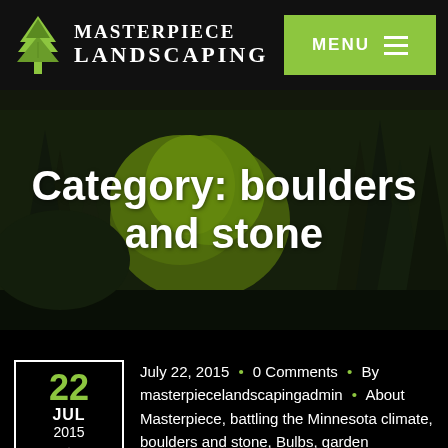Masterpiece Landscaping | MENU
[Figure (photo): Background photo of lush garden with dark green conifer trees and bright yellow-green foliage]
Category: boulders and stone
22 JUL 2015
July 22, 2015 • 0 Comments • By masterpiecelandscapingadmin • About Masterpiece, battling the Minnesota climate, boulders and stone, Bulbs, garden maintenance, garden seasons, perennials, Pruning, random fun, Residential Projects, shrubs and trees, The Art of